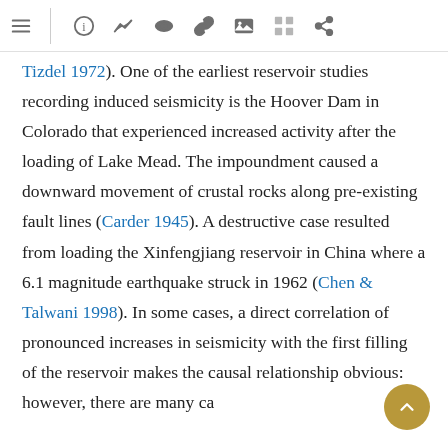[toolbar icons: menu, info, graph, eye, link, image, grid, share]
Tizdel 1972). One of the earliest reservoir studies recording induced seismicity is the Hoover Dam in Colorado that experienced increased activity after the loading of Lake Mead. The impoundment caused a downward movement of crustal rocks along pre-existing fault lines (Carder 1945). A destructive case resulted from loading the Xinfengjiang reservoir in China where a 6.1 magnitude earthquake struck in 1962 (Chen & Talwani 1998). In some cases, a direct correlation of pronounced increases in seismicity with the first filling of the reservoir makes the causal relationship obvious: however, there are many ca…